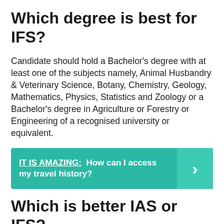Which degree is best for IFS?
Candidate should hold a Bachelor’s degree with at least one of the subjects namely, Animal Husbandry & Veterinary Science, Botany, Chemistry, Geology, Mathematics, Physics, Statistics and Zoology or a Bachelor’s degree in Agriculture or Forestry or Engineering of a recognised university or equivalent.
IT IS AMAZING:  How can I access my travel history?
Which is better IAS or IFS?